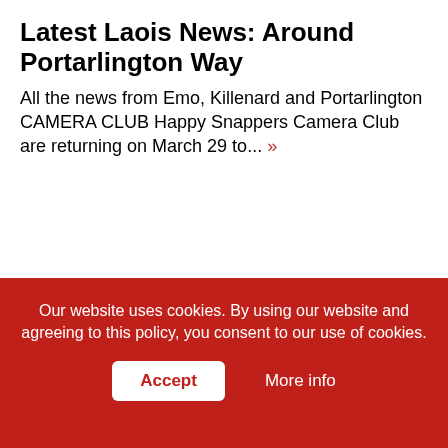Latest Laois News: Around Portarlington Way
All the news from Emo, Killenard and Portarlington CAMERA CLUB Happy Snappers Camera Club are returning on March 29 to... »
Our Partners
[Figure (logo): Dunamaise Arts Centre logo in orange text]
[Figure (logo): Marian Carton Opticians logo with road/river icon and red text]
[Figure (logo): Gerry Browne Jewellers logo in dark text]
Our website uses cookies. By using our website and agreeing to this policy, you consent to our use of cookies.
Accept
More info